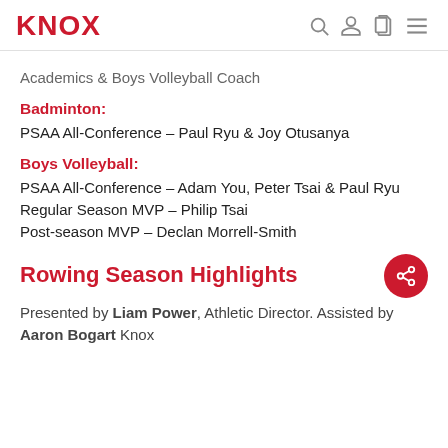KNOX
Academics & Boys Volleyball Coach
Badminton:
PSAA All-Conference – Paul Ryu & Joy Otusanya
Boys Volleyball:
PSAA All-Conference – Adam You, Peter Tsai & Paul Ryu
Regular Season MVP – Philip Tsai
Post-season MVP – Declan Morrell-Smith
Rowing Season Highlights
Presented by Liam Power, Athletic Director. Assisted by Aaron Bogart Knox